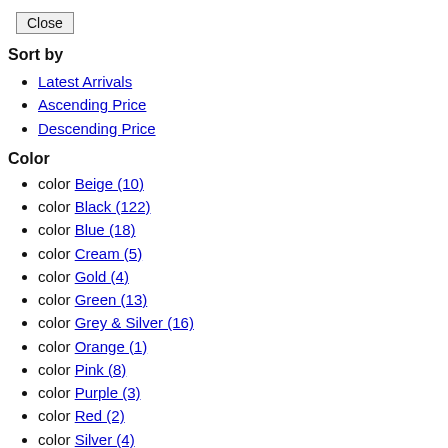Close
Sort by
Latest Arrivals
Ascending Price
Descending Price
Color
color Beige (10)
color Black (122)
color Blue (18)
color Cream (5)
color Gold (4)
color Green (13)
color Grey & Silver (16)
color Orange (1)
color Pink (8)
color Purple (3)
color Red (2)
color Silver (4)
color White (40)
color Yellow (10)